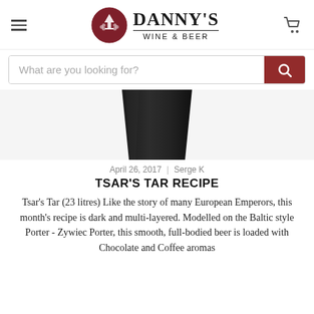Danny's Wine & Beer
[Figure (screenshot): Search bar with text 'What are you looking for?' and a dark red search button with magnifying glass icon]
[Figure (photo): Dark beer glass/bottle bottom, black and very dark brown, cropped showing only the top portion]
April 26, 2017 | Serge K
TSAR'S TAR RECIPE
Tsar's Tar (23 litres) Like the story of many European Emperors, this month's recipe is dark and multi-layered. Modelled on the Baltic style Porter - Zywiec Porter, this smooth, full-bodied beer is loaded with Chocolate and Coffee aromas